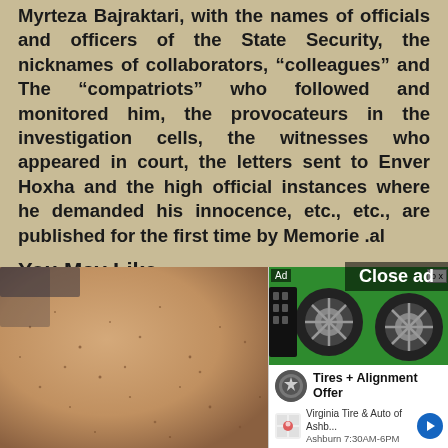Myrteza Bajraktari, with the names of officials and officers of the State Security, the nicknames of collaborators, “colleagues” and The “compatriots” who followed and monitored him, the provocateurs in the investigation cells, the witnesses who appeared in court, the letters sent to Enver Hoxha and the high official instances where he demanded his innocence, etc., etc., are published for the first time by Memorie .al
You May Like
Sponsored Links by Taboola
Close ad
[Figure (photo): Close-up photo of skin with small dark spots/freckles, showing texture]
[Figure (photo): Advertisement panel showing tires on green background, with Tires + Alignment Offer from Virginia Tire & Auto of Ashburn, 7:30AM-6PM]